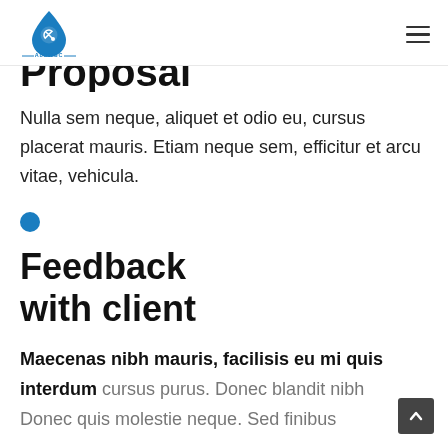AbSWSC logo and navigation hamburger menu
Proposal
Nulla sem neque, aliquet et odio eu, cursus placerat mauris. Etiam neque sem, efficitur et arcu vitae, vehicula.
Feedback with client
Maecenas nibh mauris, facilisis eu mi quis interdum cursus purus. Donec blandit nibh Donec quis molestie neque. Sed finibus